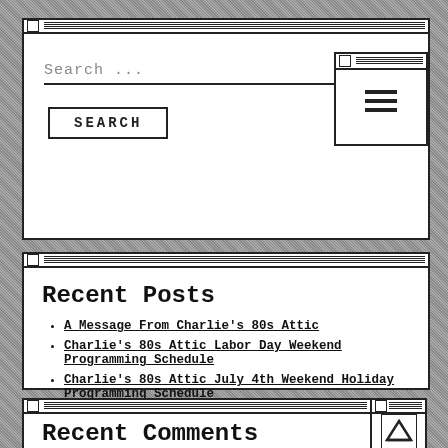[Figure (screenshot): Retro-styled browser widget with a search input field showing 'Search ...' placeholder text, a horizontal line below it, and a SEARCH button. A mini window in the top-right shows a hamburger menu icon.]
Recent Posts
A Message From Charlie's 80s Attic
Charlie's 80s Attic Labor Day Weekend Programming Schedule
Charlie's 80s Attic July 4th Weekend Holiday Programming Schedule
Weekend Programming Schedule June 24-26th
Behind The Scenes: 80s Deep Dive
Recent Comments